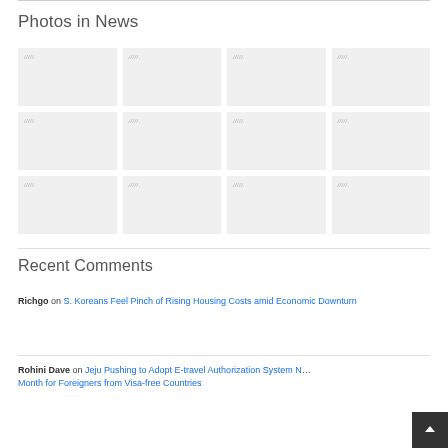Photos in News
[Figure (photo): Grid of 12 placeholder photo thumbnails arranged in 4 columns and 3 rows, each showing a broken/loading image icon with small italic label text]
Recent Comments
Richgo on S. Koreans Feel Pinch of Rising Housing Costs amid Economic Downturn
Rohini Dave on Jeju Pushing to Adopt E-travel Authorization System Next Month for Foreigners from Visa-free Countries